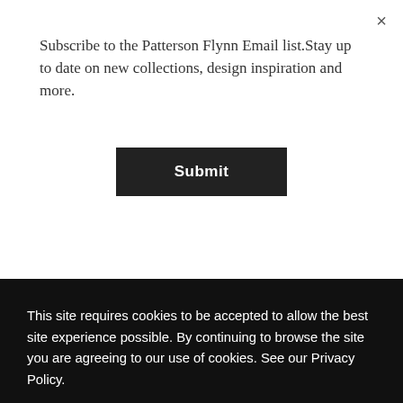Subscribe to the Patterson Flynn Email list.Stay up to date on new collections, design inspiration and more.
[Figure (other): Submit button - black rectangle with white bold text 'Submit']
[Figure (other): Close button X in top right corner]
[Figure (other): Partial arc/circle shape in tan section]
As the specialists in custom rugs, we create beautiful things for those as obsessed with quality and design as we are.
EXPLORE PF & BEYOND
This site requires cookies to be accepted to allow the best site experience possible. By continuing to browse the site you are agreeing to our use of cookies. See our Privacy Policy.
[Figure (other): ACCEPT button - white rectangle with black text 'ACCEPT']